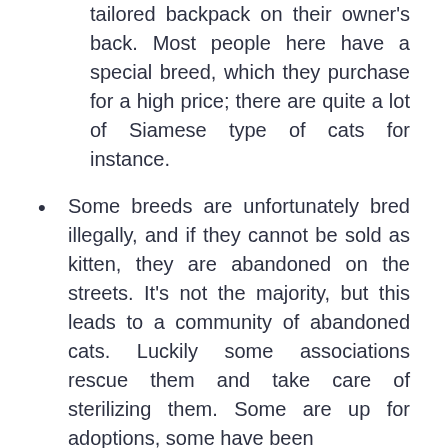tailored backpack on their owner's back. Most people here have a special breed, which they purchase for a high price; there are quite a lot of Siamese type of cats for instance.
Some breeds are unfortunately bred illegally, and if they cannot be sold as kitten, they are abandoned on the streets. It's not the majority, but this leads to a community of abandoned cats. Luckily some associations rescue them and take care of sterilizing them. Some are up for adoptions, some have been